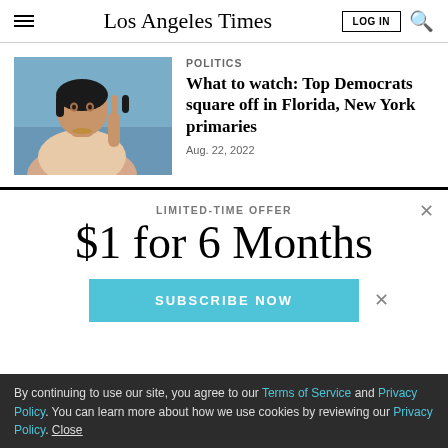Los Angeles Times
POLITICS
What to watch: Top Democrats square off in Florida, New York primaries
Aug. 22, 2022
[Figure (photo): A woman speaking, gesturing with her hand, in front of a blue background]
LIMITED-TIME OFFER
$1 for 6 Months
SUBSCRIBE NOW
By continuing to use our site, you agree to our Terms of Service and Privacy Policy. You can learn more about how we use cookies by reviewing our Privacy Policy. Close